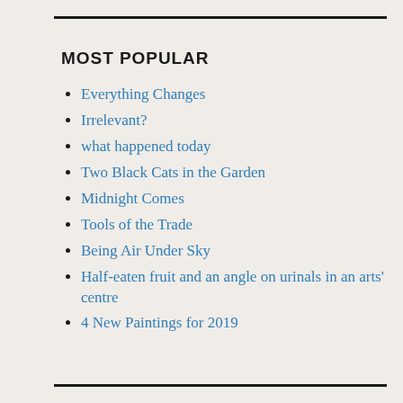MOST POPULAR
Everything Changes
Irrelevant?
what happened today
Two Black Cats in the Garden
Midnight Comes
Tools of the Trade
Being Air Under Sky
Half-eaten fruit and an angle on urinals in an arts' centre
4 New Paintings for 2019